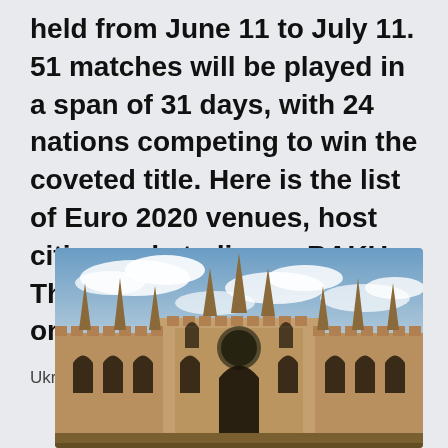held from June 11 to July 11. 51 matches will be played in a span of 31 days, with 24 nations competing to win the coveted title. Here is the list of Euro 2020 venues, host cities and stadiums: BAKU. The capital of Azerbaijan is one of the host cities for the
Ukraine v North Macedonia, 17 June.
[Figure (photo): Gothic-style building facade (resembling a university or cathedral) with tall spires, arched windows, and ornate stonework under a partly cloudy sky.]